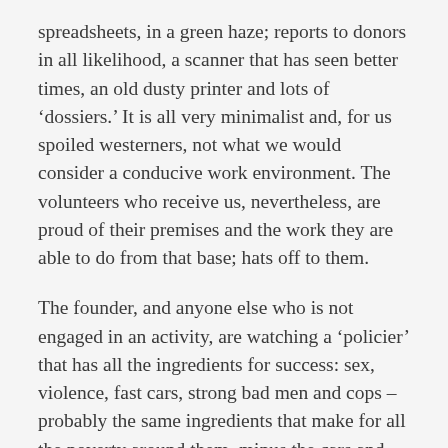spreadsheets, in a green haze; reports to donors in all likelihood, a scanner that has seen better times, an old dusty printer and lots of ‘dossiers.’ It is all very minimalist and, for us spoiled westerners, not what we would consider a conducive work environment. The volunteers who receive us, nevertheless, are proud of their premises and the work they are able to do from that base; hats off to them.
The founder, and anyone else who is not engaged in an activity, are watching a ‘policier’ that has all the ingredients for success: sex, violence, fast cars, strong bad men and cops – probably the same ingredients that make for all the poverty around them, minus the cars and the cops – no sign of them in the neighborhood.